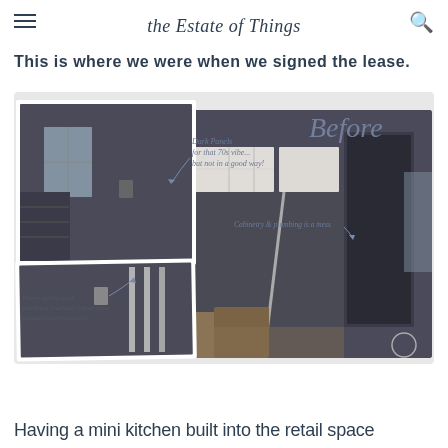the Estate of Things
This is where we were when we signed the lease.
[Figure (photo): Before photo collage showing a dark-paneled retail space prior to renovation. Two smaller photos on the left show dark rooms with exposed plumbing pipes and power outlets above standard cabinet height. A large photo on the right shows a kitchen area with dark walls, mismatched upper cabinets, and a broom leaning against the wall. Handwritten annotations read: 'Before', 'Dark Panels for that 70s vibe... but not in a good way!', 'Cabinetry & plumbing is a mess', 'Power outlets and plumbing reaching higher than standard cabinet height.']
Having a mini kitchen built into the retail space